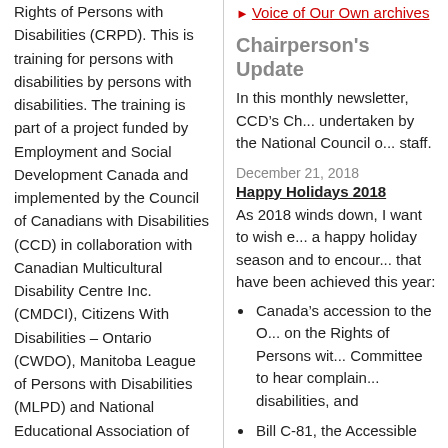Rights of Persons with Disabilities (CRPD). This is training for persons with disabilities by persons with disabilities. The training is part of a project funded by Employment and Social Development Canada and implemented by the Council of Canadians with Disabilities (CCD) in collaboration with Canadian Multicultural Disability Centre Inc. (CMDCI), Citizens With Disabilities – Ontario (CWDO), Manitoba League of Persons with Disabilities (MLPD) and National Educational Association of Disabled Students (NEADS). Read more.
Voice of Our Own archives
Chairperson's Update
In this monthly newsletter, CCD’s Ch... undertaken by the National Council o... staff.
December 21, 2018
Happy Holidays 2018
As 2018 winds down, I want to wish e... a happy holiday season and to encour... that have been achieved this year:
Canada’s accession to the O... on the Rights of Persons wit... Committee to hear complain... disabilities, and
Bill C-81, the Accessible Ca... Commission (CHRC) as the... of Canada’s implementation... Disabilities, as called for in...